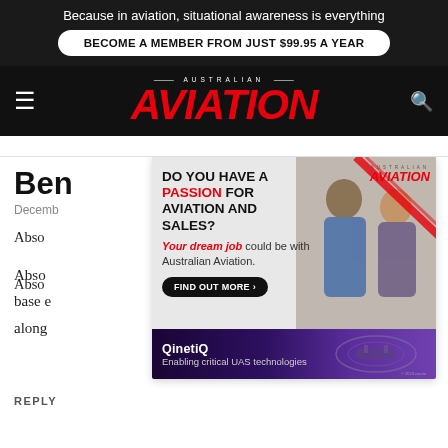Because in aviation, situational awareness is everything
BECOME A MEMBER FROM JUST $99.95 A YEAR
AUSTRALIAN AVIATION
Ben
December
Abso... leet base e... d along... t.
REPLY
[Figure (infographic): Australian Aviation job advertisement: 'DO YOU HAVE A PASSION FOR AVIATION AND SALES? Your dream job could be with Australian Aviation. FIND OUT MORE' with photo of two people]
[Figure (infographic): QinetiQ advertisement: 'Enabling critical UAS technologies' with purple background and UAS imagery]